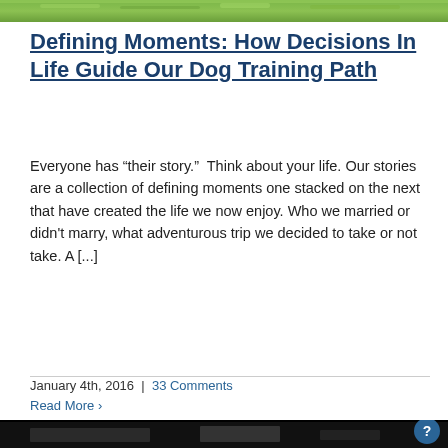[Figure (photo): Green grass/outdoor background image strip at the top of the page]
Defining Moments: How Decisions In Life Guide Our Dog Training Path
Everyone has “their story.”  Think about your life. Our stories are a collection of defining moments one stacked on the next that have created the life we now enjoy. Who we married or didn't marry, what adventurous trip we decided to take or not take. A [...]
January 4th, 2016  |  33 Comments
Read More ›
[Figure (photo): Dark/black strip at the bottom of the page showing partial image content]